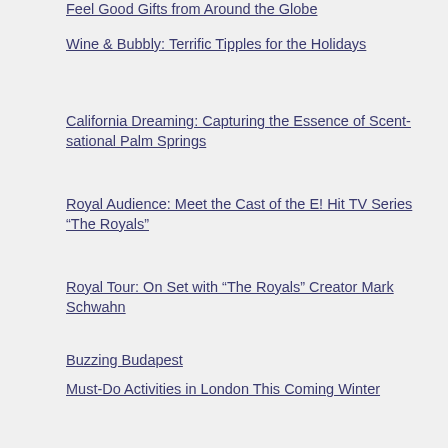Feel Good Gifts from Around the Globe
Wine & Bubbly: Terrific Tipples for the Holidays
California Dreaming: Capturing the Essence of Scent-sational Palm Springs
Royal Audience: Meet the Cast of the E! Hit TV Series “The Royals”
Royal Tour: On Set with “The Royals” Creator Mark Schwahn
Buzzing Budapest
Must-Do Activities in London This Coming Winter
St. John: The Wild Child of the Caribbean
5 Festivals You Must Visit if You’re...